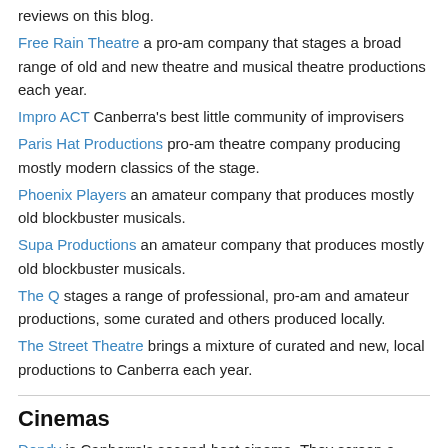reviews on this blog.
Free Rain Theatre a pro-am company that stages a broad range of old and new theatre and musical theatre productions each year.
Impro ACT Canberra's best little community of improvisers
Paris Hat Productions pro-am theatre company producing mostly modern classics of the stage.
Phoenix Players an amateur company that produces mostly old blockbuster musicals.
Supa Productions an amateur company that produces mostly old blockbuster musicals.
The Q stages a range of professional, pro-am and amateur productions, some curated and others produced locally.
The Street Theatre brings a mixture of curated and new, local productions to Canberra each year.
Cinemas
Dendy is Canberra's second-best cinema. They screen a broad range of films and clean their theatres, but they charge like wounded bulls for it.